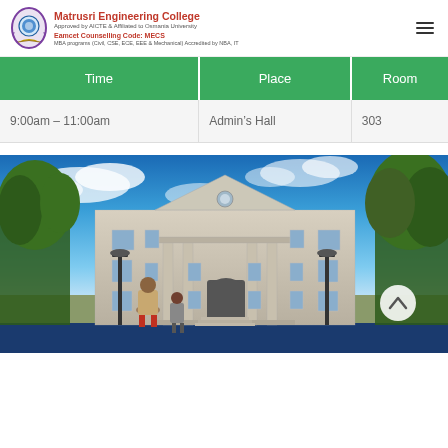Matrusri Engineering College - Approved by AICTE & Affiliated to Osmania University - Eamcet Counselling Code: MECS - MBA programs (Civil, CSE, ECE, EEE & Mechanical) Accredited by NBA, IT
| Time | Place | Room |
| --- | --- | --- |
| 9:00am – 11:00am | Admin’s Hall | 303 |
[Figure (photo): Exterior view of a classical European-style university building with columns and pediment, blue sky with clouds, people in foreground, street lamps on either side]